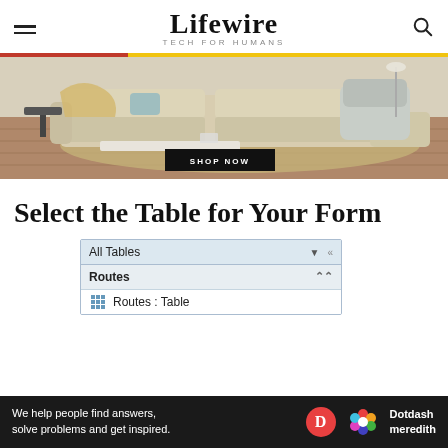Lifewire — TECH FOR HUMANS
[Figure (photo): Advertisement photo showing a modern living room with sofa, with a 'SHOP NOW' button overlay]
Select the Table for Your Form
[Figure (screenshot): UI panel showing 'All Tables' dropdown with Routes section and Routes: Table item listed below]
Ad
We help people find answers, solve problems and get inspired. Dotdash meredith